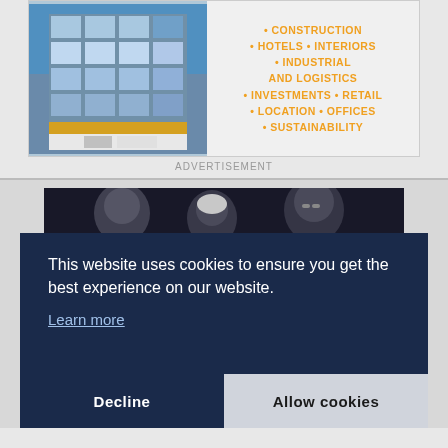[Figure (illustration): Advertisement showing a building facade image on left and bullet list of property categories on right]
• CONSTRUCTION
• HOTELS • INTERIORS
• INDUSTRIAL AND LOGISTICS
• INVESTMENTS • RETAIL
• LOCATION • OFFICES
• SUSTAINABILITY
ADVERTISEMENT
[Figure (photo): People seated at a panel or conference event, dark background]
This website uses cookies to ensure you get the best experience on our website.
Learn more
Decline
Allow cookies